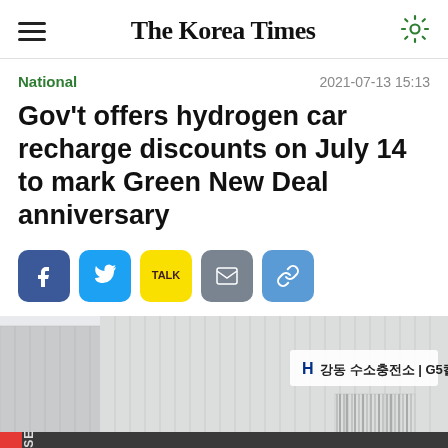The Korea Times
National · 2021-07-13 15:13
Gov't offers hydrogen car recharge discounts on July 14 to mark Green New Deal anniversary
[Figure (screenshot): Social media share buttons: Facebook (blue), Twitter (blue), KakaoTalk (yellow), Email (grey), Link (blue)]
[Figure (photo): Exterior of a hydrogen charging station building with Korean text: H 강동 수소충전소 | G5칼텍스]
CLOSE